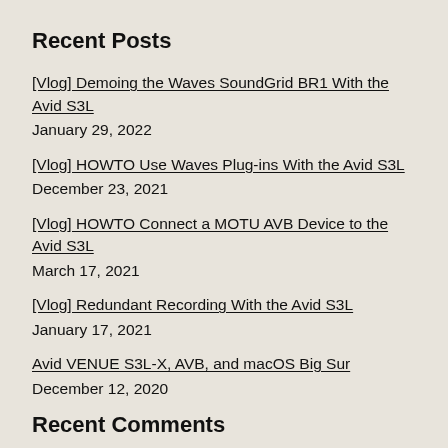Recent Posts
[Vlog] Demoing the Waves SoundGrid BR1 With the Avid S3L January 29, 2022
[Vlog] HOWTO Use Waves Plug-ins With the Avid S3L December 23, 2021
[Vlog] HOWTO Connect a MOTU AVB Device to the Avid S3L March 17, 2021
[Vlog] Redundant Recording With the Avid S3L January 17, 2021
Avid VENUE S3L-X, AVB, and macOS Big Sur December 12, 2020
Recent Comments